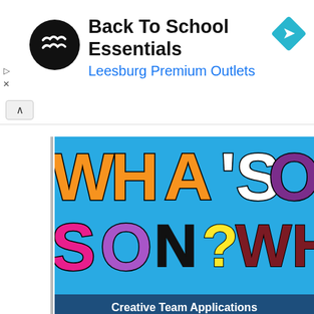[Figure (screenshot): Ad banner: Back To School Essentials at Leesburg Premium Outlets with navigation icon and circular logo]
[Figure (photo): Colorful graphic on blue background with large multicolored text 'WHAT'S ON?' repeated in various orientations and colors (orange, purple, pink, yellow, dark red)]
[Figure (photo): Dark blue banner with white bold text 'Creative Team Applications' and subtext 'We're looking for:' on lighter panel, with mountain silhouette in background]